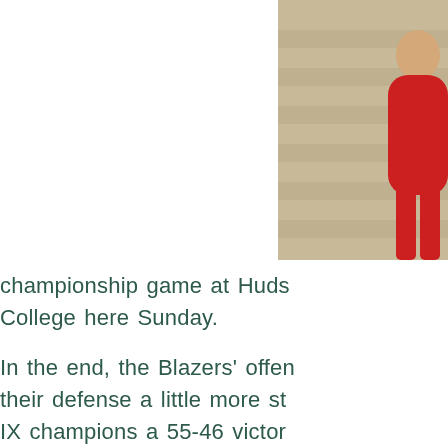[Figure (photo): Partial photo of a person in a red jersey/uniform, with staircase steps visible in the background. Only the right portion of the photo is visible.]
championship game at Huds College here Sunday.
In the end, the Blazers' offen their defense a little more st IX champions a 55-46 victor
“We shot poorly. Credit them Schweiger said. “Their lengt get easy looks inside and th well because they knew they them, very similar to us, in t
“We just didn’t handle it. We and get shots. We had some was lower than normal and l percentage was lower. On to